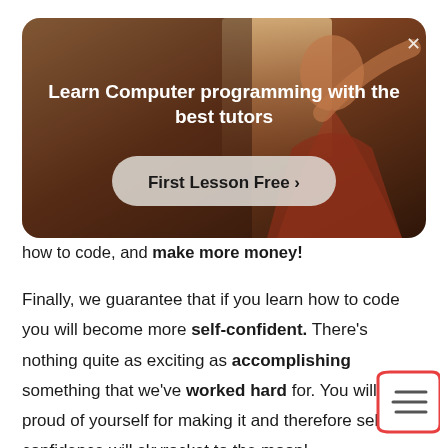[Figure (photo): Promotional banner with a person in a red top on a warm-toned background, showing a tutoring advertisement overlay with a close button, title text, and a call-to-action button.]
Learn Computer programming with the best tutors
First Lesson Free >
how to code, and make more money!
Finally, we guarantee that if you learn how to code you will become more self-confident. There's nothing quite as exciting as accomplishing something that we've worked hard for. You will feel proud of yourself for making it and therefore self-confidence will skyrocket to the moon!